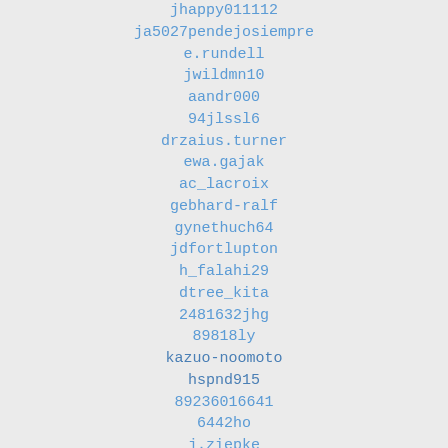jhappy011112
ja5027pendejosiempre
e.rundell
jwildmn10
aandr000
94jlssl6
drzaius.turner
ewa.gajak
ac_lacroix
gebhard-ralf
gynethuch64
jdfortlupton
h_falahi29
dtree_kita
2481632jhg
89818ly
kazuo-noomoto
hspnd915
89236016641
6442ho
j.ziepke
gulbeyaz_eylul
ksbdavid
kmcw2006
fvishockz